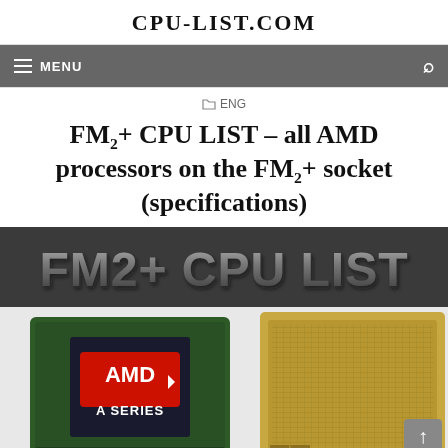CPU-LIST.COM
MENU
ENG
FM2+ CPU LIST – all AMD processors on the FM2+ socket (specifications)
[Figure (photo): FM2+ CPU LIST banner with stylized text and two AMD FM2+ socket processors — an AMD A-Series CPU (top view, green PCB) and a gold-colored CPU socket/lid]